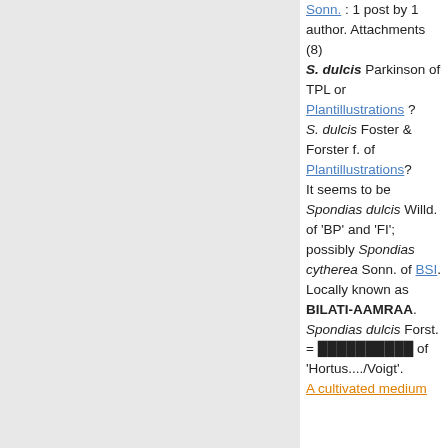Sonn. : 1 post by 1 author. Attachments (8) S. dulcis Parkinson of TPL or Plantillustrations ? S. dulcis Foster & Forster f. of Plantillustrations? It seems to be Spondias dulcis Willd. of 'BP' and 'FI'; possibly Spondias cytherea Sonn. of BSI. Locally known as BILATI-AAMRAA. Spondias dulcis Forst. = ██████████ of 'Hortus..../Voigt'. A cultivated medium